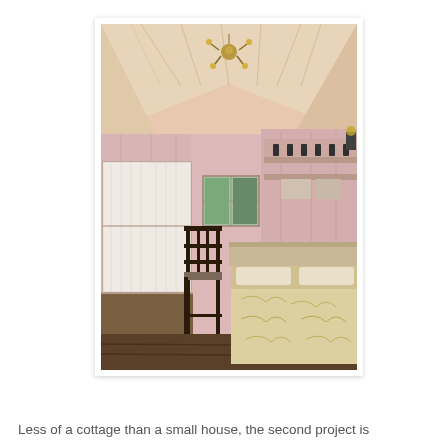[Figure (photo): Interior of a cottage bedroom with vaulted wood-paneled ceiling painted pink/cream, a chandelier hanging from the peak, lace curtains on a large window to the left, a small window in the center wall, a dark wooden chair, a bed with floral bedspread on the right, and built-in shelving/hooks on the right wall.]
Less of a cottage than a small house, the second project is